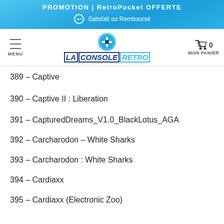PROMOTION | RetroPocket OFFERTE
Satisfait ou Remboursé
[Figure (logo): La Console Retro logo with game controller icon and blue/navy text]
389 – Captive
390 – Captive II : Liberation
391 – CapturedDreams_V1.0_BlackLotus_AGA
392 – Carcharodon – White Sharks
393 – Carcharodon : White Sharks
394 – Cardiaxx
395 – Cardiaxx (Electronic Zoo)